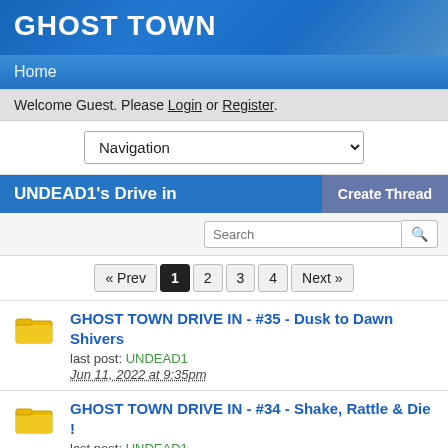GHOST TOWN
Home
Welcome Guest. Please Login or Register.
Navigation (dropdown)
UNDEAD1's Drive in
Create Thread
Search
« Prev  1  2  3  4  Next »
GHOST TOWN DRIVE IN - #35 - Dusk to Dawn Shivers
last post: UNDEAD1
Jun 11, 2022 at 9:35pm
GHOST TOWN DRIVE IN - #34 - Shake, Rattle & Die !
last post: UNDEAD1
May 26, 2022 at 6:39pm
GHOST TOWN DRIVE IN - #33 - He & She Creature Double Feature
last post: UNDEAD1
May 26, 2022 at 6:01pm